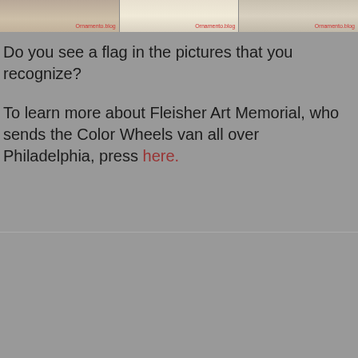[Figure (photo): Three thumbnail images at the top of the page, each with an 'Ornamento.blog' watermark in red text. Images appear to show pages or fabric with flags/decorative elements.]
Do you see a flag in the pictures that you recognize?
To learn more about Fleisher Art Memorial, who sends the Color Wheels van all over Philadelphia, press here.